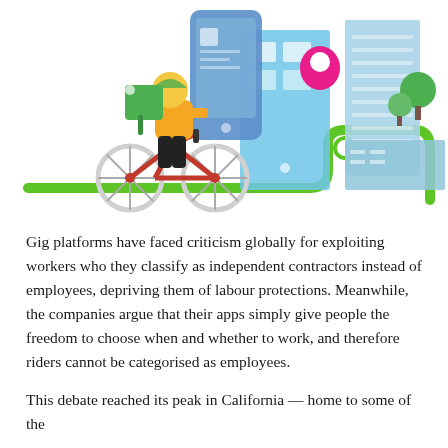[Figure (illustration): Isometric illustration of a delivery cyclist riding on a green winding path/route line, with a large smartphone showing a city map in the background, a pink location pin, and city buildings including a skyscraper with trees. The cyclist wears a yellow jacket and helmet and carries a green delivery box.]
Gig platforms have faced criticism globally for exploiting workers who they classify as independent contractors instead of employees, depriving them of labour protections. Meanwhile, the companies argue that their apps simply give people the freedom to choose when and whether to work, and therefore riders cannot be categorised as employees.
This debate reached its peak in California — home to some of the